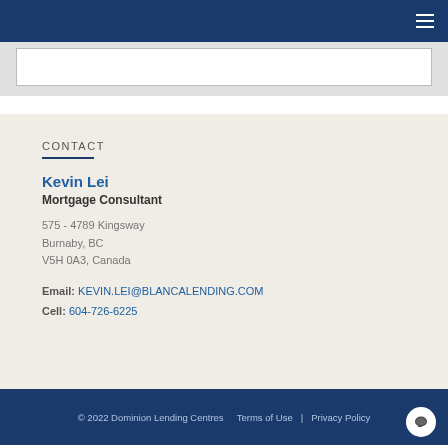CONTACT
Kevin Lei
Mortgage Consultant
575 - 4789 Kingsway
Burnaby, BC
V5H 0A3, Canada
Email: KEVIN.LEI@BLANCALENDING.COM
Cell: 604-726-6225
© 2022 Dominion Lending Centres   Terms of Use   |   Privacy Policy